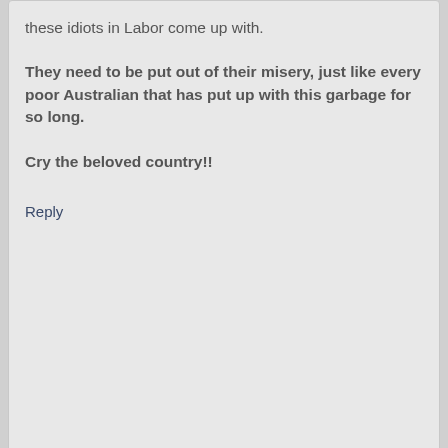these idiots in Labor come up with.
They need to be put out of their misery, just like every poor Australian that has put up with this garbage for so long.
Cry the beloved country!!
Reply
Soothsayer says
12 June 2012 at 4:42 pm
I can see disaster looming with this scheme.
Like a lot of things it will be abused. There is also the safety element of having mentally unwell people from cultures that have some pretty weird ideas about sexual norms.
A lot of non-Western cultures have very bigoted ideas about the sexual norms of western women. I would worry